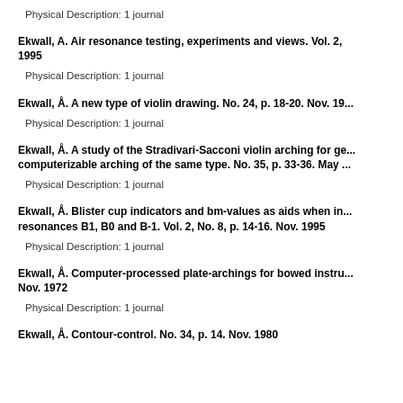Physical Description: 1 journal
Ekwall, A. Air resonance testing, experiments and views. Vol. 2, 1995
Physical Description: 1 journal
Ekwall, Å. A new type of violin drawing. No. 24, p. 18-20. Nov. 19...
Physical Description: 1 journal
Ekwall, Å. A study of the Stradivari-Sacconi violin arching for ge... computerizable arching of the same type. No. 35, p. 33-36. May ...
Physical Description: 1 journal
Ekwall, Å. Blister cup indicators and bm-values as aids when in... resonances B1, B0 and B-1. Vol. 2, No. 8, p. 14-16. Nov. 1995
Physical Description: 1 journal
Ekwall, Å. Computer-processed plate-archings for bowed instru... Nov. 1972
Physical Description: 1 journal
Ekwall, Å. Contour-control. No. 34, p. 14. Nov. 1980